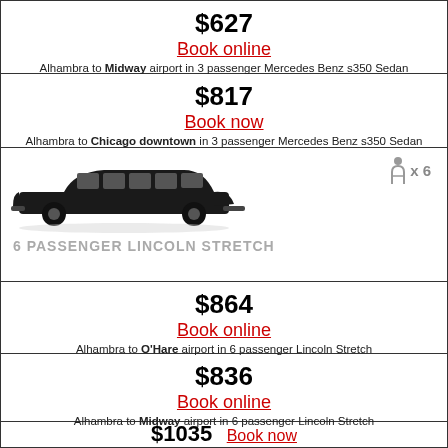$627
Book online
Alhambra to Midway airport in 3 passenger Mercedes Benz s350 Sedan
$817
Book now
Alhambra to Chicago downtown in 3 passenger Mercedes Benz s350 Sedan
[Figure (photo): Black stretch limousine (Lincoln) side view with passenger icon x6]
$864
Book online
Alhambra to O'Hare airport in 6 passenger Lincoln Stretch
$836
Book online
Alhambra to Midway airport in 6 passenger Lincoln Stretch
$1035
Book now